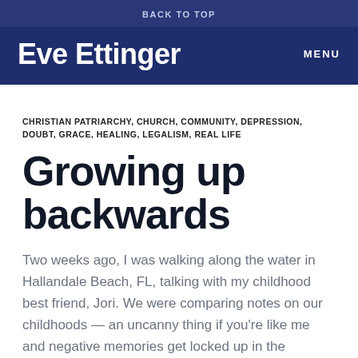BACK TO TOP
Eve Ettinger   MENU
CHRISTIAN PATRIARCHY, CHURCH, COMMUNITY, DEPRESSION, DOUBT, GRACE, HEALING, LEGALISM, REAL LIFE
Growing up backwards
Two weeks ago, I was walking along the water in Hallandale Beach, FL, talking with my childhood best friend, Jori. We were comparing notes on our childhoods — an uncanny thing if you're like me and negative memories get locked up in the subconscious. Both of our families were large, creative, unruly homeschoolers, loving to read and play games and create imaginary worlds and